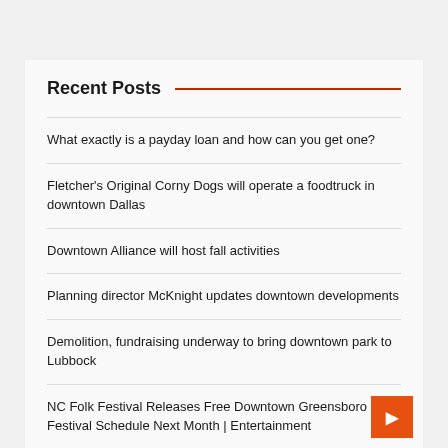Recent Posts
What exactly is a payday loan and how can you get one?
Fletcher's Original Corny Dogs will operate a foodtruck in downtown Dallas
Downtown Alliance will host fall activities
Planning director McKnight updates downtown developments
Demolition, fundraising underway to bring downtown park to Lubbock
NC Folk Festival Releases Free Downtown Greensboro Festival Schedule Next Month | Entertainment